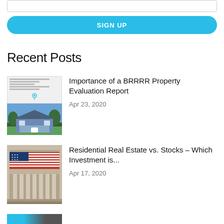SIGN UP
Recent Posts
[Figure (photo): Thumbnail image showing a property evaluation report document and a blue house photo below it]
Importance of a BRRRR Property Evaluation Report
Apr 23, 2020
[Figure (photo): Photo of a building (NYSE-style) with an American flag draped across it]
Residential Real Estate vs. Stocks – Which Investment is...
Apr 17, 2020
[Figure (photo): Partially visible thumbnail at the bottom of the page]